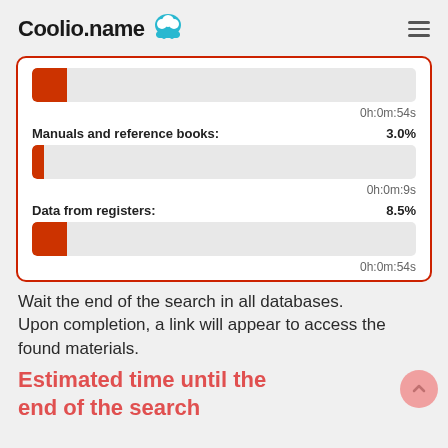Coolio.name
[Figure (infographic): Progress bars card showing three categories with progress bars and time estimates. Category 1: unnamed, ~9% filled, 0h:0m:54s. Category 2: Manuals and reference books 3.0%, 0h:0m:9s. Category 3: Data from registers 8.5%, 0h:0m:54s.]
Wait the end of the search in all databases.
Upon completion, a link will appear to access the found materials.
Estimated time until the end of the search